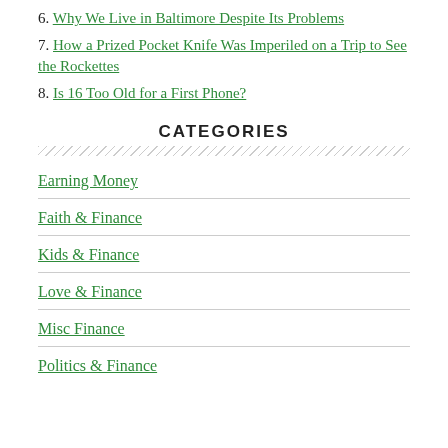6. Why We Live in Baltimore Despite Its Problems
7. How a Prized Pocket Knife Was Imperiled on a Trip to See the Rockettes
8. Is 16 Too Old for a First Phone?
CATEGORIES
Earning Money
Faith & Finance
Kids & Finance
Love & Finance
Misc Finance
Politics & Finance